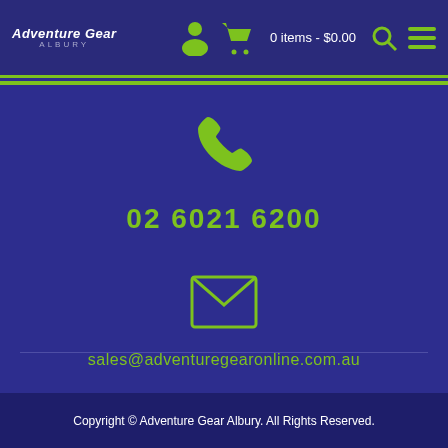Adventure Gear Albury — 0 items - $0.00
[Figure (illustration): Green phone handset icon on dark blue background]
02 6021 6200
[Figure (illustration): Green envelope/email icon on dark blue background]
sales@adventuregearonline.com.au
Copyright © Adventure Gear Albury. All Rights Reserved.